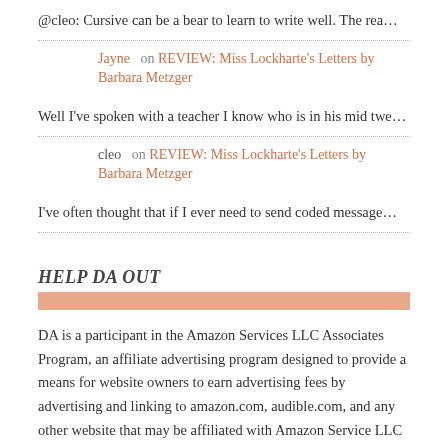@cleo: Cursive can be a bear to learn to write well. The rea…
Jayne  on REVIEW: Miss Lockharte's Letters by Barbara Metzger
Well I've spoken with a teacher I know who is in his mid twe…
cleo   on REVIEW: Miss Lockharte's Letters by Barbara Metzger
I've often thought that if I ever need to send coded message…
HELP DA OUT
DA is a participant in the Amazon Services LLC Associates Program, an affiliate advertising program designed to provide a means for website owners to earn advertising fees by advertising and linking to amazon.com, audible.com, and any other website that may be affiliated with Amazon Service LLC Associates Program.
TWEETS